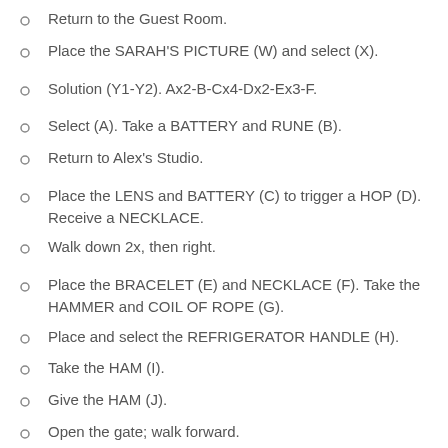Return to the Guest Room.
Place the SARAH'S PICTURE (W) and select (X).
Solution (Y1-Y2). Ax2-B-Cx4-Dx2-Ex3-F.
Select (A). Take a BATTERY and RUNE (B).
Return to Alex's Studio.
Place the LENS and BATTERY (C) to trigger a HOP (D). Receive a NECKLACE.
Walk down 2x, then right.
Place the BRACELET (E) and NECKLACE (F). Take the HAMMER and COIL OF ROPE (G).
Place and select the REFRIGERATOR HANDLE (H).
Take the HAM (I).
Give the HAM (J).
Open the gate; walk forward.
Chapter 2: The Barn
Take the MAGNET (K).